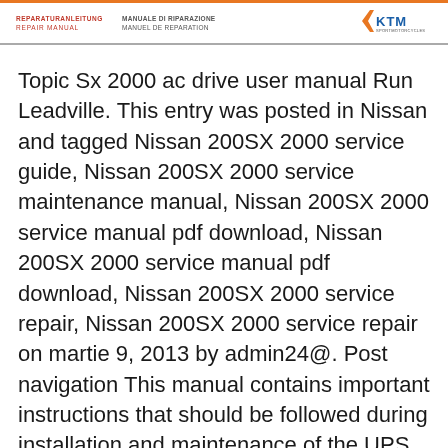REPARATURANLEITUNG REPAIR MANUAL | MANUALE DI RIPARAZIONE MANUEL DE REPARATION | KTM
Topic Sx 2000 ac drive user manual Run Leadville. This entry was posted in Nissan and tagged Nissan 200SX 2000 service guide, Nissan 200SX 2000 service maintenance manual, Nissan 200SX 2000 service manual pdf download, Nissan 200SX 2000 service manual pdf download, Nissan 200SX 2000 service repair, Nissan 200SX 2000 service repair on martie 9, 2013 by admin24@. Post navigation This manual contains important instructions that should be followed during installation and maintenance of the UPS and batteries. The 9SX models that are